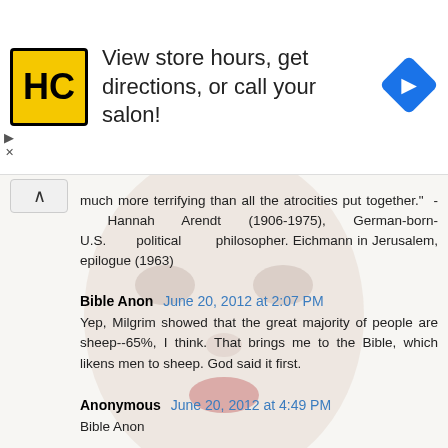[Figure (screenshot): Advertisement banner for a hair salon chain (HC logo) with text 'View store hours, get directions, or call your salon!' and a blue navigation/directions diamond icon on the right. Close/arrow controls on the left.]
much more terrifying than all the atrocities put together." - Hannah Arendt (1906-1975), German-born-U.S. political philosopher. Eichmann in Jerusalem, epilogue (1963)
Bible Anon  June 20, 2012 at 2:07 PM
Yep, Milgrim showed that the great majority of people are sheep--65%, I think. That brings me to the Bible, which likens men to sheep. God said it first.
Anonymous  June 20, 2012 at 4:49 PM
Bible Anon

It reads, "I send you out as sheep in the midst of